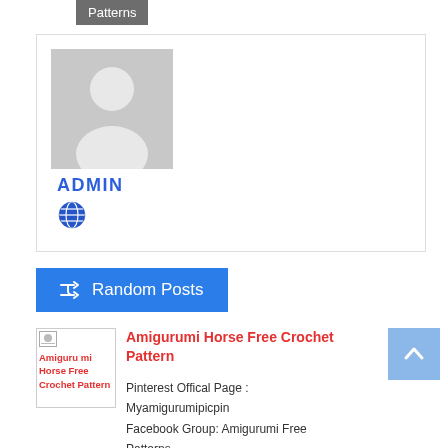Patterns
[Figure (illustration): Admin profile card with grey placeholder avatar (person silhouette), text 'ADMIN' in blue, and a globe icon below]
[Figure (other): Blue 'Random Posts' button with shuffle icon]
[Figure (other): Broken image thumbnail for Amigurumi Horse Free Crochet Pattern with red link text]
Amigurumi Horse Free Crochet Pattern
Pinterest Offical Page : Myamigurumipicpin
Facebook Group: Amigurumi Free Patterns
Facebook Offical Page: Amigurumi Videos